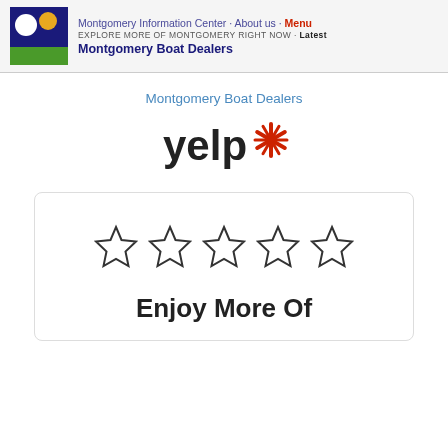Montgomery Information Center · About us · Menu
EXPLORE MORE OF MONTGOMERY RIGHT NOW · Latest
Montgomery Boat Dealers
Montgomery Boat Dealers
[Figure (logo): Yelp logo with red burst asterisk]
[Figure (illustration): Five empty (unfilled) star rating icons in a row]
Enjoy More Of